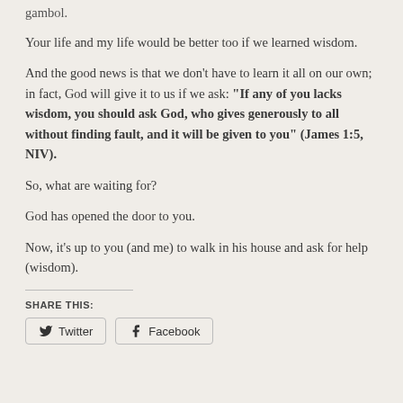gambol.
Your life and my life would be better too if we learned wisdom.
And the good news is that we don’t have to learn it all on our own; in fact, God will give it to us if we ask: “If any of you lacks wisdom, you should ask God, who gives generously to all without finding fault, and it will be given to you” (James 1:5, NIV).
So, what are waiting for?
God has opened the door to you.
Now, it’s up to you (and me) to walk in his house and ask for help (wisdom).
SHARE THIS:
Twitter   Facebook